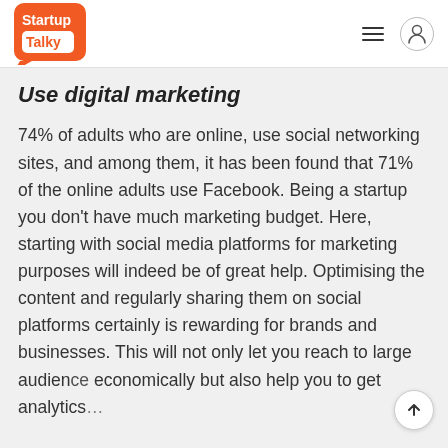StartupTalky
Use digital marketing
74% of adults who are online, use social networking sites, and among them, it has been found that 71% of the online adults use Facebook. Being a startup you don't have much marketing budget. Here, starting with social media platforms for marketing purposes will indeed be of great help. Optimising the content and regularly sharing them on social platforms certainly is rewarding for brands and businesses. This will not only let you reach to large audience economically but also help you to get analytics